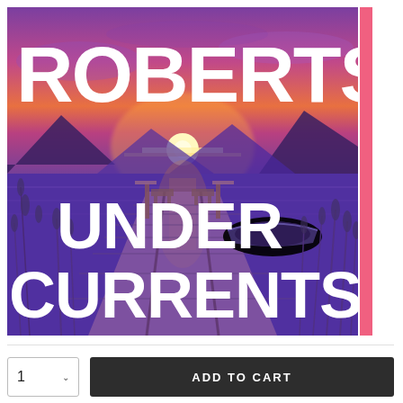[Figure (illustration): Book cover for 'Undercurrents' by Roberts. Shows a dramatic purple and pink sunset over a calm lake with mountains in the background. A wooden dock extends into the water with a rowboat tied alongside. Tall reeds frame the foreground. Bold white text reads 'ROBERTS' at the top and 'UNDER CURRENTS' at the bottom.]
ADD TO CART